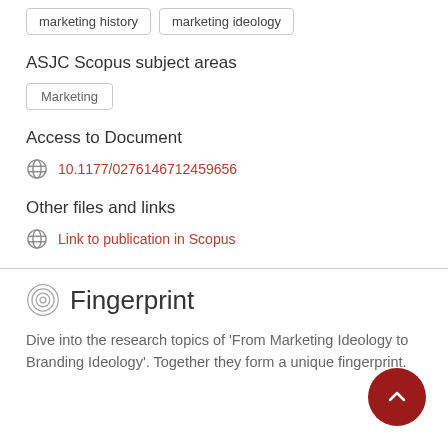marketing history
marketing ideology
ASJC Scopus subject areas
Marketing
Access to Document
10.1177/0276146712459656
Other files and links
Link to publication in Scopus
Fingerprint
Dive into the research topics of 'From Marketing Ideology to Branding Ideology'. Together they form a unique fingerprint.